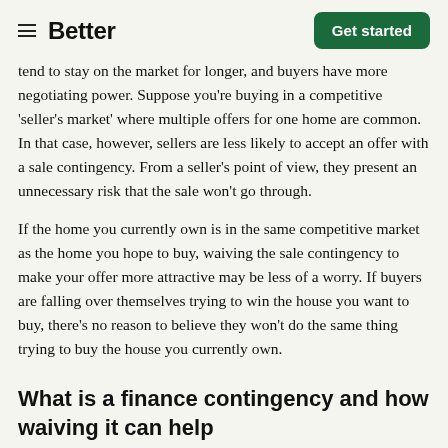Better | Get started
tend to stay on the market for longer, and buyers have more negotiating power. Suppose you’re buying in a competitive ‘seller’s market’ where multiple offers for one home are common. In that case, however, sellers are less likely to accept an offer with a sale contingency. From a seller’s point of view, they present an unnecessary risk that the sale won’t go through.
If the home you currently own is in the same competitive market as the home you hope to buy, waiving the sale contingency to make your offer more attractive may be less of a worry. If buyers are falling over themselves trying to win the house you want to buy, there’s no reason to believe they won’t do the same thing trying to buy the house you currently own.
What is a finance contingency and how waiving it can help